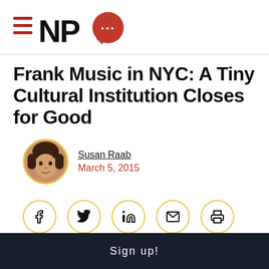NPQ logo
Frank Music in NYC: A Tiny Cultural Institution Closes for Good
Susan Raab
March 5, 2015
[Figure (infographic): Social share buttons: Facebook, Twitter, LinkedIn, Email, Print]
Sign up!